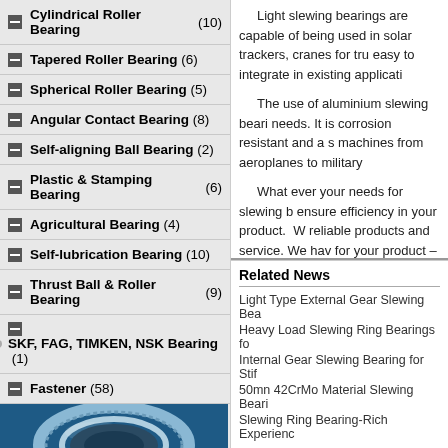Cylindrical Roller Bearing (10)
Tapered Roller Bearing (6)
Spherical Roller Bearing (5)
Angular Contact Bearing (8)
Self-aligning Ball Bearing (2)
Plastic & Stamping Bearing (6)
Agricultural Bearing (4)
Self-lubrication Bearing (10)
Thrust Ball & Roller Bearing (9)
SKF, FAG, TIMKEN, NSK Bearing (1)
Fastener (58)
[Figure (photo): Close-up photo of a slewing ring bearing showing the circular track and gear teeth on a blue metallic background]
Light slewing bearings are capable of... used in solar trackers, cranes for tru... easy to integrate in existing applicati...
The use of aluminium slewing beari... needs. It is corrosion resistant and a s... machines from aeroplanes to military...
What ever your needs for slewing b... ensure efficiency in your product. W... reliable products and service. We hav... for your product – allowing it to run...
Related News
Light Type External Gear Slewing Bea...
Heavy Load Slewing Ring Bearings fo...
Internal Gear Slewing Bearing for Stif...
50mn 42CrMo Material Slewing Beari...
Slewing Ring Bearing-Rich Experienc...